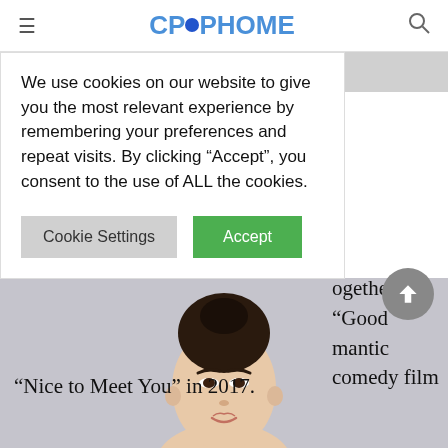CPOPHOME
We use cookies on our website to give you the most relevant experience by remembering your preferences and repeat visits. By clicking “Accept”, you consent to the use of ALL the cookies.
Cookie Settings  Accept
ogether in “Good mantic comedy film “Nice to Meet You” in 2017.
[Figure (photo): Portrait photo of a young Asian woman with hair in a bun, photographed against a light gray background]